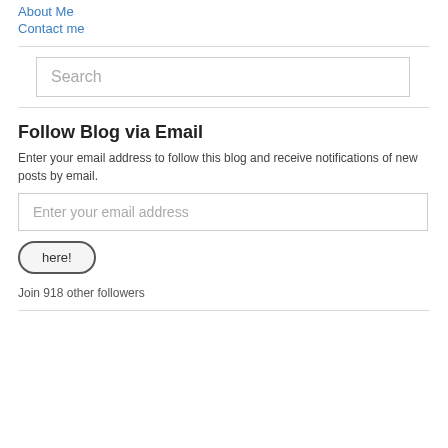About Me
Contact me
Search
Follow Blog via Email
Enter your email address to follow this blog and receive notifications of new posts by email.
Enter your email address
here!
Join 918 other followers